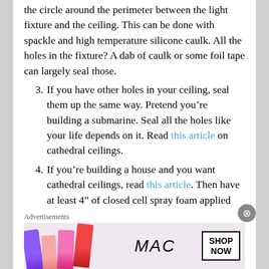the circle around the perimeter between the light fixture and the ceiling. This can be done with spackle and high temperature silicone caulk. All the holes in the fixture? A dab of caulk or some foil tape can largely seal those.
3. If you have other holes in your ceiling, seal them up the same way. Pretend you’re building a submarine. Seal all the holes like your life depends on it. Read this article on cathedral ceilings.
4. If you’re building a house and you want cathedral ceilings, read this article. Then have at least 4” of closed cell spray foam applied directly to the underside of your roof. You’ll be shocked at the price, but consider this – if you use fiberglass and your roof rots out, you’ll spend at least $10,000 to redo your roof. Spray foam will seem cheap in comparison.
Advertisements
[Figure (photo): MAC Cosmetics advertisement banner showing colorful lipsticks and a SHOP NOW call to action box]